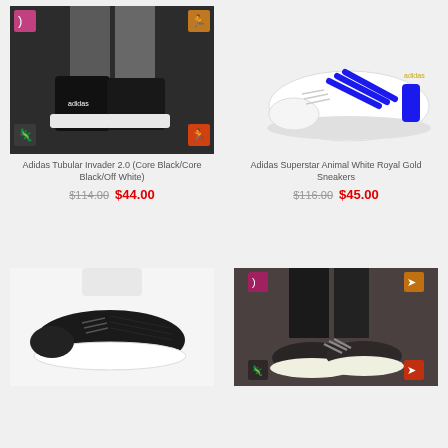[Figure (photo): Adidas Tubular Invader 2.0 high-top sneakers in Core Black, person wearing them, overhead view on concrete]
Adidas Tubular Invader 2.0 (Core Black/Core Black/Off White)
$114.00  $44.00
[Figure (photo): Adidas Superstar Animal White Royal Gold Sneakers, white sneaker with blue stripes on white background]
Adidas Superstar Animal White Royal Gold Sneakers
$116.00  $45.00
[Figure (photo): Black Adidas low-top sneaker with white sole on white background]
[Figure (photo): Dark gray Adidas sneakers worn by person standing on surface, with small icon badges]